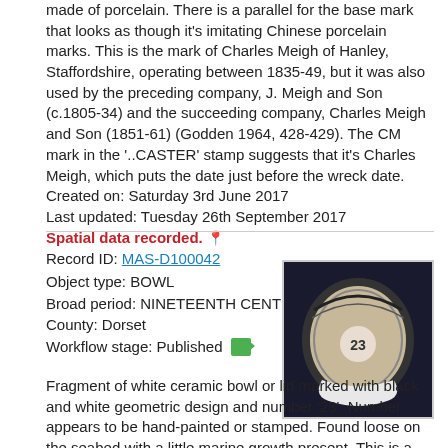made of porcelain. There is a parallel for the base mark that looks as though it's imitating Chinese porcelain marks. This is the mark of Charles Meigh of Hanley, Staffordshire, operating between 1835-49, but it was also used by the preceding company, J. Meigh and Son (c.1805-34) and the succeeding company, Charles Meigh and Son (1851-61) (Godden 1964, 428-429). The CM mark in the '..CASTER' stamp suggests that it's Charles Meigh, which puts the date just before the wreck date.
Created on: Saturday 3rd June 2017
Last updated: Tuesday 26th September 2017
Spatial data recorded. 📍
Record ID: MAS-D100042
Object type: BOWL
Broad period: NINETEENTH CENTURY
County: Dorset
Workflow stage: Published
Fragment of white ceramic bowl or lid marked with black and white geometric design and number '23'. Number appears to be hand-painted or stamped. Found loose on the seabed with a little marine growth present. This is a naval issue bowl probably used for drinking rather than smaller, handled cups, as they were more practical on board a ship. The number refers to the mess number,
[Figure (photo): Fragment of a white ceramic bowl with black and white geometric pattern and number 23, photographed on dark background]